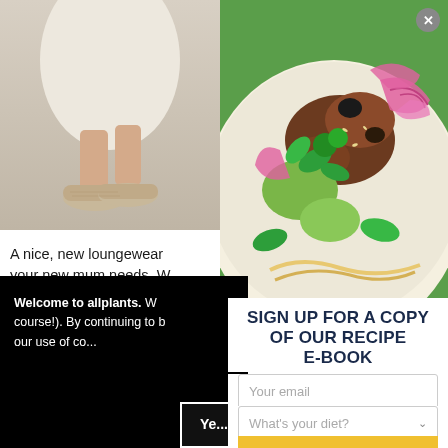[Figure (photo): Person's feet wearing beige/cream flat shoes with a long cream dress/skirt, light background]
[Figure (photo): Overhead view of a food bowl with salad, vegetables, meat, red onions, mint leaves, avocado, on a green background]
A nice, new loungewear your new mum needs. W not fitting quite right an our comfortable to...
Welcome to allplants. W course!). By continuing to b our use of co...
SIGN UP FOR A COPY OF OUR RECIPE E-BOOK
Your email
What's your diet?
GET YOUR COPY